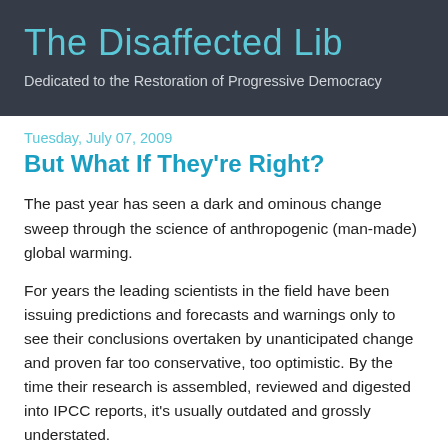The Disaffected Lib
Dedicated to the Restoration of Progressive Democracy
Tuesday, July 07, 2009
But What If They're Right?
The past year has seen a dark and ominous change sweep through the science of anthropogenic (man-made) global warming.
For years the leading scientists in the field have been issuing predictions and forecasts and warnings only to see their conclusions overtaken by unanticipated change and proven far too conservative, too optimistic. By the time their research is assembled, reviewed and digested into IPCC reports, it's usually outdated and grossly understated.